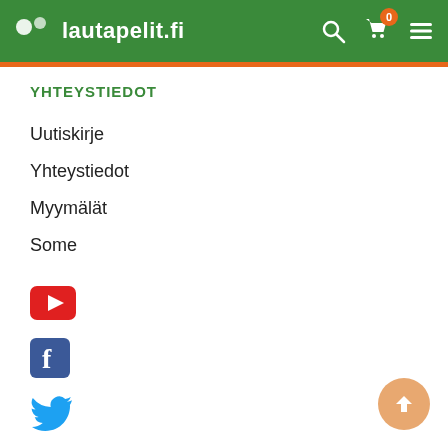lautapelit.fi
YHTEYSTIEDOT
Uutiskirje
Yhteystiedot
Myymälät
Some
[Figure (logo): YouTube icon - red background with white play button]
[Figure (logo): Facebook icon - blue square with white F]
[Figure (logo): Twitter icon - blue bird]
FI / SE / EN